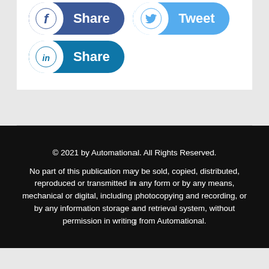[Figure (screenshot): Social sharing buttons: Facebook Share (dark blue), Twitter Tweet (light blue), LinkedIn Share (dark teal blue)]
© 2021 by Automational. All Rights Reserved.

No part of this publication may be sold, copied, distributed, reproduced or transmitted in any form or by any means, mechanical or digital, including photocopying and recording, or by any information storage and retrieval system, without permission in writing from Automational.